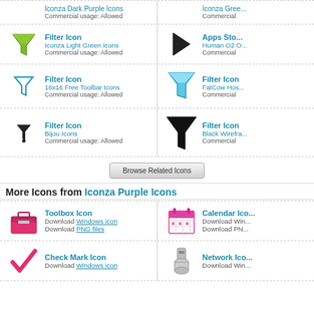Filter Icon - Iconza Light Green Icons - Commercial usage: Allowed (left column, row 1)
Apps Sto... - Human O2 C... - Commercial... (right column, row 1)
Filter Icon - 16x16 Free Toolbar Icons - Commercial usage: Allowed (left column, row 2)
Filter Icon - FatCow Hos... - Commercial... (right column, row 2)
Filter Icon - Bijou Icons - Commercial usage: Allowed (left column, row 3)
Filter Icon - Black Wirefra... - Commercial... (right column, row 3)
Browse Related Icons
More Icons from Iconza Purple Icons
Toolbox Icon - Download Windows icon - Download PNG files
Calendar Ic... - Download Win... - Download PN...
Check Mark Icon - Download Windows icon
Network Ico... - Download Win...